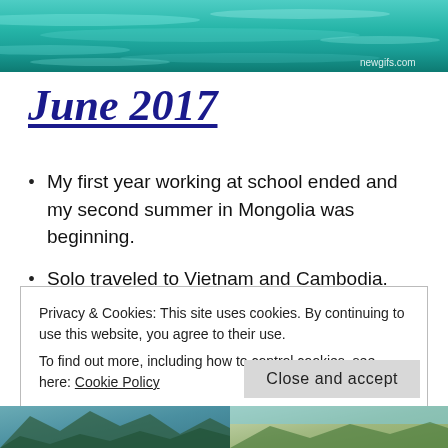[Figure (photo): Ocean/sea water surface photo with turquoise blue water, with watermark 'newgifs.com' in bottom right]
June 2017
My first year working at school ended and my second summer in Mongolia was beginning.
Solo traveled to Vietnam and Cambodia.
Had a new blue deel made for me.
Privacy & Cookies: This site uses cookies. By continuing to use this website, you agree to their use.
To find out more, including how to control cookies, see here: Cookie Policy
Close and accept
[Figure (photo): Two landscape/travel photos at the bottom of the page — left shows rocky coastline, right shows another outdoor scene]